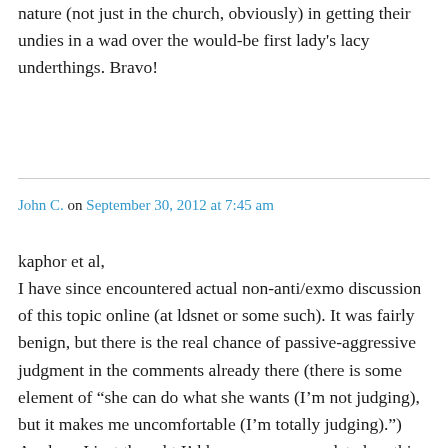nature (not just in the church, obviously) in getting their undies in a wad over the would-be first lady's lacy underthings. Bravo!
John C. on September 30, 2012 at 7:45 am
kaphor et al,
I have since encountered actual non-anti/exmo discussion of this topic online (at ldsnet or some such). It was fairly benign, but there is the real chance of passive-aggressive judgment in the comments already there (there is some element of "she can do what she wants (I'm not judging), but it makes me uncomfortable (I'm totally judging).") Anyhoo, I just thought I'd keep everyone updated on this particular bit of stinkin'